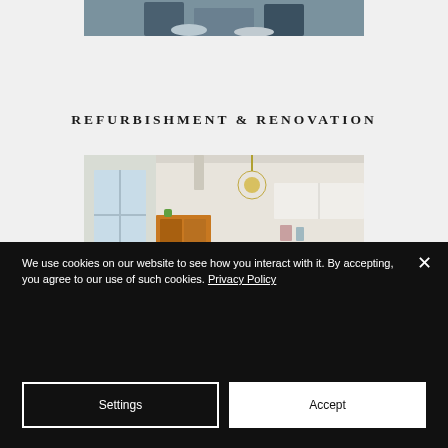[Figure (photo): Two people reviewing construction blueprints on a surface, viewed from above, partial top crop]
REFURBISHMENT & RENOVATION
[Figure (photo): Bright renovated kitchen/dining room with wooden cabinet, chandelier, dining table with chairs, white cabinetry]
We use cookies on our website to see how you interact with it. By accepting, you agree to our use of such cookies. Privacy Policy
Settings
Accept